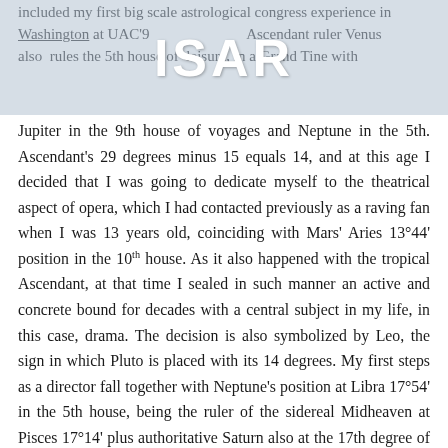included my first big scale astrological congress experience in Washington at UAC'9... Ascendant ruler Venus also rules the 5th house of leisure, in a Grand Tine with
Jupiter in the 9th house of voyages and Neptune in the 5th. Ascendant's 29 degrees minus 15 equals 14, and at this age I decided that I was going to dedicate myself to the theatrical aspect of opera, which I had contacted previously as a raving fan when I was 13 years old, coinciding with Mars' Aries 13°44' position in the 10th house. As it also happened with the tropical Ascendant, at that time I sealed in such manner an active and concrete bound for decades with a central subject in my life, in this case, drama. The decision is also symbolized by Leo, the sign in which Pluto is placed with its 14 degrees. My first steps as a director fall together with Neptune's position at Libra 17°54' in the 5th house, being the ruler of the sidereal Midheaven at Pisces 17°14' plus authoritative Saturn also at the 17th degree of its own sign.